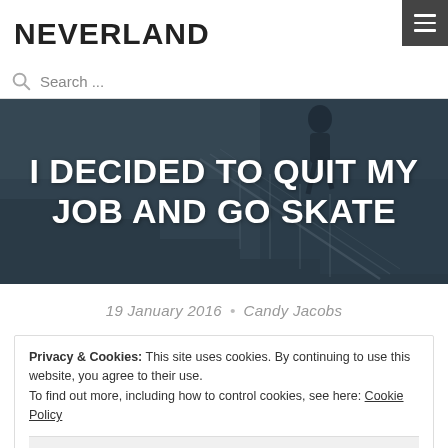NEVERLAND
Search ...
[Figure (photo): Hero image of person skating on stairs with dark overlay]
I DECIDED TO QUIT MY JOB AND GO SKATE
19 January 2016 • Candy Jacobs
Privacy & Cookies: This site uses cookies. By continuing to use this website, you agree to their use.
To find out more, including how to control cookies, see here: Cookie Policy
Close and accept